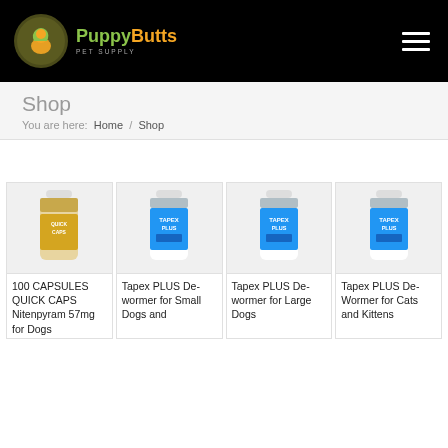[Figure (logo): PuppyButts Pet Supply logo with green and yellow dog silhouette in olive circle, text logo below]
Shop
You are here:  Home  /  Shop
[Figure (photo): 100 CAPSULES QUICK CAPS Nitenpyram 57mg for Dogs bottle]
100 CAPSULES QUICK CAPS Nitenpyram 57mg for Dogs
[Figure (photo): Tapex PLUS De-wormer for Small Dogs and Cats bottle]
Tapex PLUS De-wormer for Small Dogs and
[Figure (photo): Tapex PLUS De-wormer for Large Dogs bottle]
Tapex PLUS De-wormer for Large Dogs
[Figure (photo): Tapex PLUS De-Wormer for Cats and Kittens bottle]
Tapex PLUS De-Wormer for Cats and Kittens